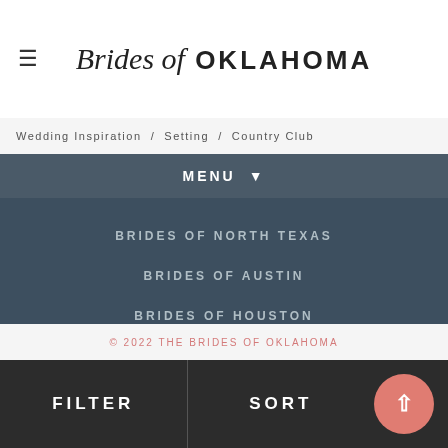Brides of OKLAHOMA
Wedding Inspiration / Setting / Country Club
MENU ▾
BRIDES OF NORTH TEXAS
BRIDES OF AUSTIN
BRIDES OF HOUSTON
WED SOCIETY
BRANDLINK MEDIA
© 2022 THE BRIDES OF OKLAHOMA
FILTER   SORT